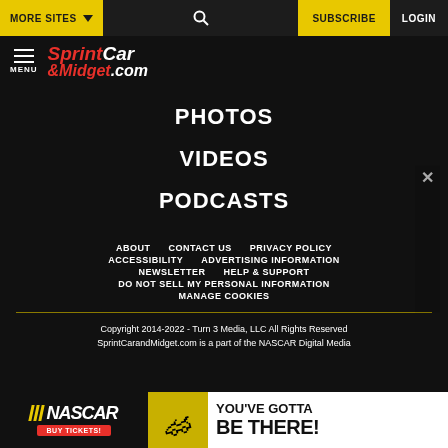MORE SITES  SUBSCRIBE  LOGIN
[Figure (logo): SprintCar & Midget.com logo with hamburger menu icon]
PHOTOS
VIDEOS
PODCASTS
ABOUT  CONTACT US  PRIVACY POLICY  ACCESSIBILITY  ADVERTISING INFORMATION  NEWSLETTER  HELP & SUPPORT  DO NOT SELL MY PERSONAL INFORMATION  MANAGE COOKIES
Copyright 2014-2022 - Turn 3 Media, LLC All Rights Reserved SprintCarandMidget.com is a part of the NASCAR Digital Media
[Figure (illustration): NASCAR 'You've Gotta Be There!' advertisement banner with Buy Tickets button]